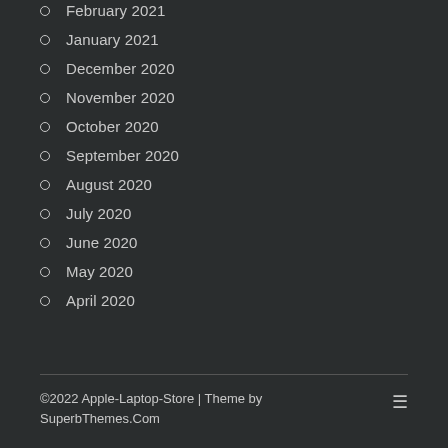February 2021
January 2021
December 2020
November 2020
October 2020
September 2020
August 2020
July 2020
June 2020
May 2020
April 2020
©2022 Apple-Laptop-Store | Theme by SuperbThemes.Com